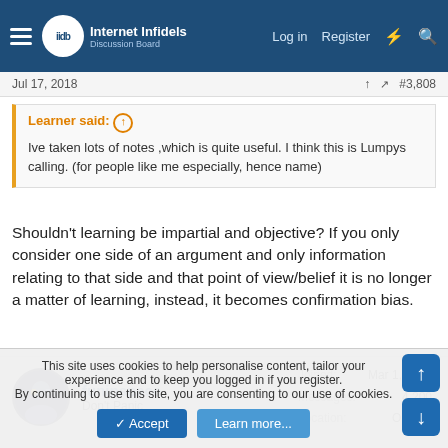Internet Infidels — Log in  Register
Jul 17, 2018  #3,808
Learner said: ↑
Ive taken lots of notes ,which is quite useful. I think this is Lumpys calling. (for people like me especially, hence name)
Shouldn't learning be impartial and objective? If you only consider one side of an argument and only information relating to that side and that point of view/belief it is no longer a matter of learning, instead, it becomes confirmation bias.
funinspace
Don't Panic
Joined: Mar 1, 2004
Messages: 4,200
Location: Oregon
This site uses cookies to help personalise content, tailor your experience and to keep you logged in if you register.
By continuing to use this site, you are consenting to our use of cookies.
Accept  Learn more...